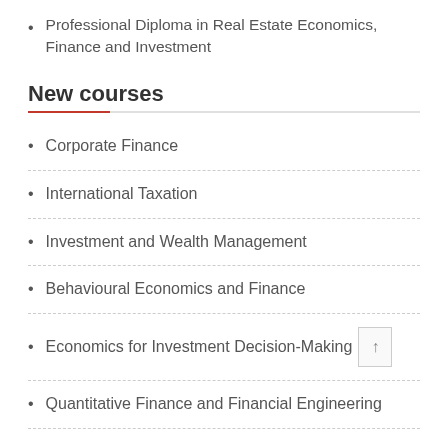Professional Diploma in Real Estate Economics, Finance and Investment
New courses
Corporate Finance
International Taxation
Investment and Wealth Management
Behavioural Economics and Finance
Economics for Investment Decision-Making
Quantitative Finance and Financial Engineering